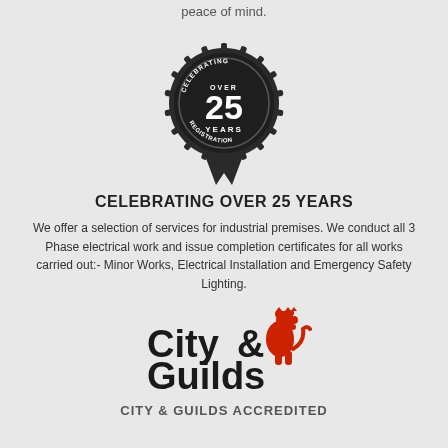peace of mind.
[Figure (logo): Circular badge seal with text 'CELEBRATING OVER 25 YEARS REGISTRATION' on a dark background with ribbon below]
CELEBRATING OVER 25 YEARS
We offer a selection of services for industrial premises. We conduct all 3 Phase electrical work and issue completion certificates for all works carried out:- Minor Works, Electrical Installation and Emergency Safety Lighting.
[Figure (logo): City & Guilds logo with stylized text and red lion emblem]
CITY & GUILDS ACCREDITED